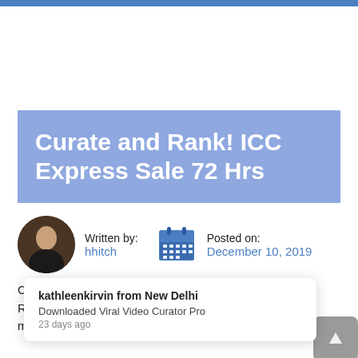Curate and Rank! ICC Express Sale 72 Hrs
Written by: hhitch   Posted on: December 10, 2019
kathleenkirvin from New Delhi
Downloaded Viral Video Curator Pro
23 days ago